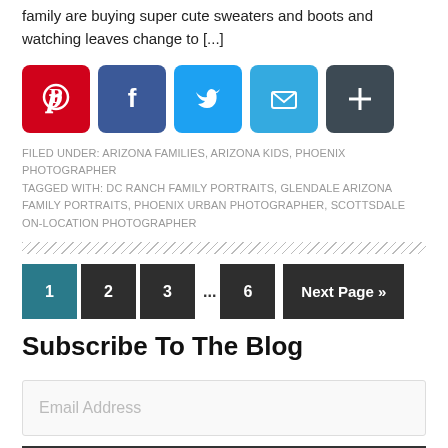family are buying super cute sweaters and boots and watching leaves change to [...]
[Figure (infographic): Social share buttons: Pinterest (red), Facebook (blue), Twitter (light blue), Email (light blue), More/Plus (dark)]
FILED UNDER: ARIZONA FAMILIES, ARIZONA KIDS, PHOENIX PHOTOGRAPHER TAGGED WITH: DC RANCH FAMILY PORTRAITS, GLENDALE ARIZONA FAMILY PORTRAITS, PHOENIX URBAN PHOTOGRAPHER, SCOTTSDALE ON-LOCATION PHOTOGRAPHER
[Figure (other): Diagonal hatch divider line]
1 2 3 ... 6 Next Page »
Subscribe To The Blog
Email Address
SUBSCRIBE